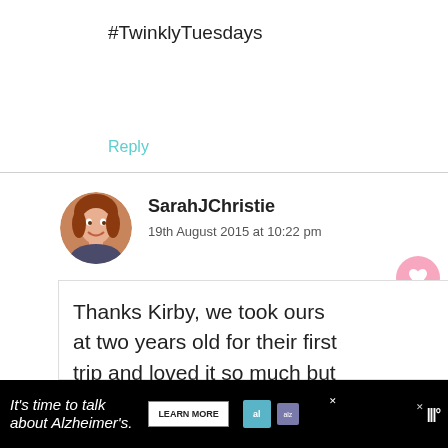#TwinklyTuesdays
Reply
SarahJChristie
19th August 2015 at 10:22 pm
Thanks Kirby, we took ours at two years old for their first trip and loved it so much but each experience
WHAT'S NEXT → What Do Older Children Lo...
It's time to talk about Alzheimer's.
LEARN MORE